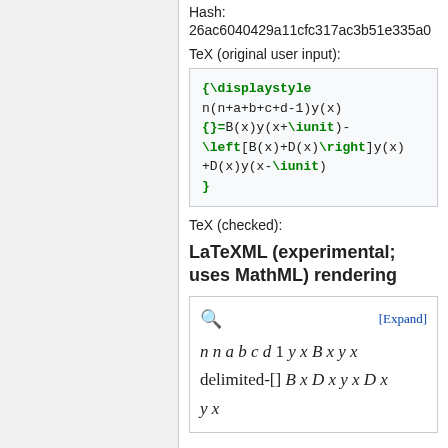Hash:
26ac6040429a11cfc317ac3b51e335a0
TeX (original user input):
TeX (checked):
LaTeXML (experimental; uses MathML) rendering
[Figure (math-figure): MathML rendering box showing: n n a b c d 1 y x B x y x delimited-[] B x D x y x D x y x with [Expand] link and magnify icon]